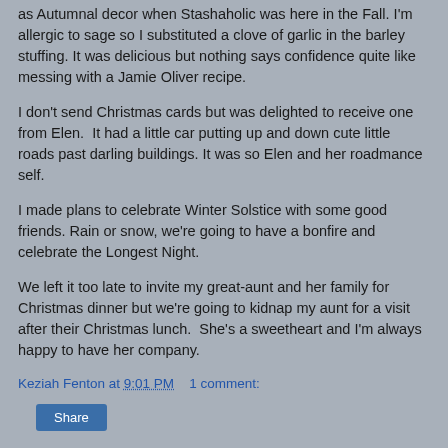as Autumnal decor when Stashaholic was here in the Fall. I'm allergic to sage so I substituted a clove of garlic in the barley stuffing. It was delicious but nothing says confidence quite like messing with a Jamie Oliver recipe.
I don't send Christmas cards but was delighted to receive one from Elen.  It had a little car putting up and down cute little roads past darling buildings. It was so Elen and her roadmance self.
I made plans to celebrate Winter Solstice with some good friends. Rain or snow, we're going to have a bonfire and celebrate the Longest Night.
We left it too late to invite my great-aunt and her family for Christmas dinner but we're going to kidnap my aunt for a visit after their Christmas lunch.  She's a sweetheart and I'm always happy to have her company.
Keziah Fenton at 9:01 PM    1 comment:
Share